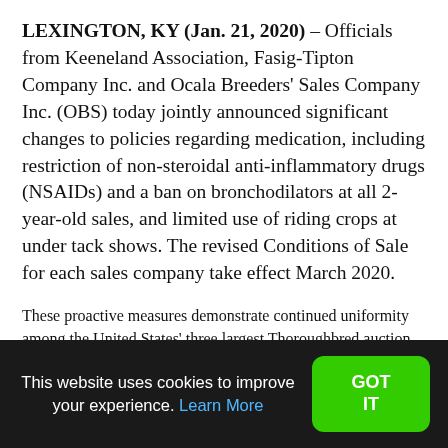LEXINGTON, KY (Jan. 21, 2020) – Officials from Keeneland Association, Fasig-Tipton Company Inc. and Ocala Breeders' Sales Company Inc. (OBS) today jointly announced significant changes to policies regarding medication, including restriction of non-steroidal anti-inflammatory drugs (NSAIDs) and a ban on bronchodilators at all 2-year-old sales, and limited use of riding crops at under tack shows. The revised Conditions of Sale for each sales company take effect March 2020.
These proactive measures demonstrate continued uniformity among the United States' three largest Thoroughbred auction
This website uses cookies to improve your experience. Learn More